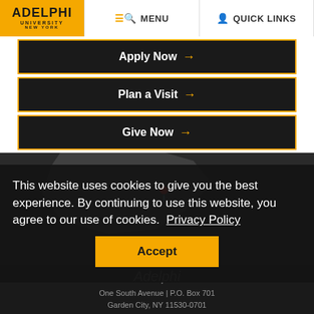[Figure (logo): Adelphi University New York logo on gold background]
MENU
QUICK LINKS
Apply Now →
Plan a Visit →
Give Now →
[Figure (map): Dark map showing location pin for Adelphi University]
This website uses cookies to give you the best experience. By continuing to use this website, you agree to our use of cookies. Privacy Policy
Accept
Adelphi
One South Avenue | P.O. Box 701
Garden City, NY 11530-0701